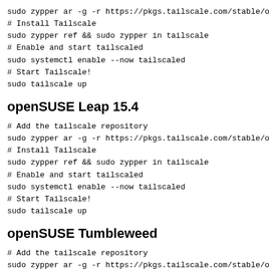sudo zypper ar -g -r https://pkgs.tailscale.com/stable/op
# Install Tailscale
sudo zypper ref && sudo zypper in tailscale
# Enable and start tailscaled
sudo systemctl enable --now tailscaled
# Start Tailscale!
sudo tailscale up
openSUSE Leap 15.4
# Add the tailscale repository
sudo zypper ar -g -r https://pkgs.tailscale.com/stable/op
# Install Tailscale
sudo zypper ref && sudo zypper in tailscale
# Enable and start tailscaled
sudo systemctl enable --now tailscaled
# Start Tailscale!
sudo tailscale up
openSUSE Tumbleweed
# Add the tailscale repository
sudo zypper ar -g -r https://pkgs.tailscale.com/stable/op
# Install Tailscale
sudo zypper ref && sudo zypper in tailscale
# Enable and start tailscaled
sudo systemctl enable --now tailscaled